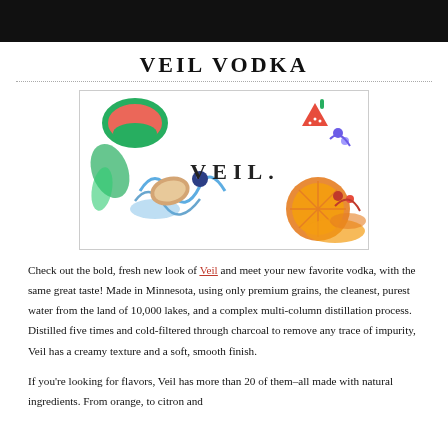VEIL VODKA
[Figure (illustration): Veil Vodka brand image showing colorful fruits (watermelon, strawberry, orange, blueberry, coconut) with splashes of juice and the VEIL. wordmark centered on white background]
Check out the bold, fresh new look of Veil and meet your new favorite vodka, with the same great taste! Made in Minnesota, using only premium grains, the cleanest, purest water from the land of 10,000 lakes, and a complex multi-column distillation process. Distilled five times and cold-filtered through charcoal to remove any trace of impurity, Veil has a creamy texture and a soft, smooth finish.
If you're looking for flavors, Veil has more than 20 of them–all made with natural ingredients. From orange, to citron and